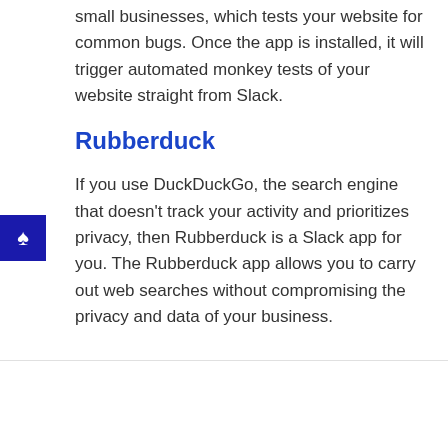small businesses, which tests your website for common bugs. Once the app is installed, it will trigger automated monkey tests of your website straight from Slack.
Rubberduck
If you use DuckDuckGo, the search engine that doesn't track your activity and prioritizes privacy, then Rubberduck is a Slack app for you. The Rubberduck app allows you to carry out web searches without compromising the privacy and data of your business.